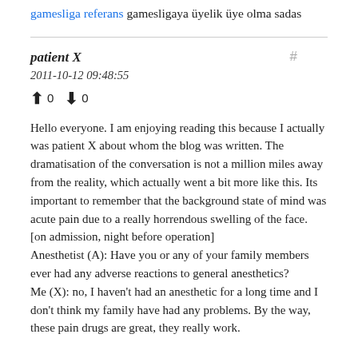gamesliga referans gamesligaya üyelik üye olma sadas
patient X
2011-10-12 09:48:55
↑ 0 ↓ 0
Hello everyone. I am enjoying reading this because I actually was patient X about whom the blog was written. The dramatisation of the conversation is not a million miles away from the reality, which actually went a bit more like this. Its important to remember that the background state of mind was acute pain due to a really horrendous swelling of the face.
[on admission, night before operation]
Anesthetist (A): Have you or any of your family members ever had any adverse reactions to general anesthetics?
Me (X): no, I haven't had an anesthetic for a long time and I don't think my family have had any problems. By the way, these pain drugs are great, they really work.